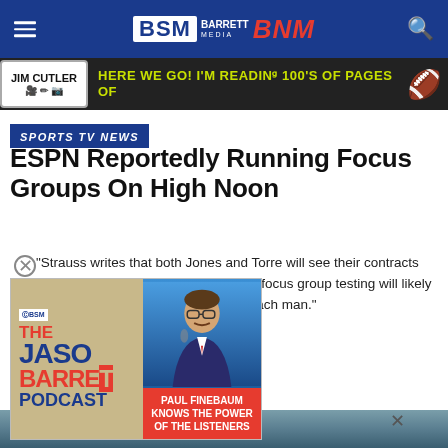BSM BARRETT MEDIA BNM
[Figure (screenshot): Jim Cutler ad banner: HERE WE GO! I'M READING 100'S OF PAGES OF [football emoji]]
SPORTS TV NEWS
ESPN Reportedly Running Focus Groups On High Noon
"Strauss writes that both Jones and Torre will see their contracts expire in early spring 2020. The results of focus group testing will likely play a role in upcoming negotiations for each man."
[Figure (screenshot): The Jason Barrett Podcast ad overlay with Paul Finebaum image and text PAUL FINEBAUM KNOWS THE POWER OF THE LISTENERS]
Published years ago on November 13, 2019
By BSM Staff
[Figure (photo): Bottom strip showing a person at the bottom of the page]